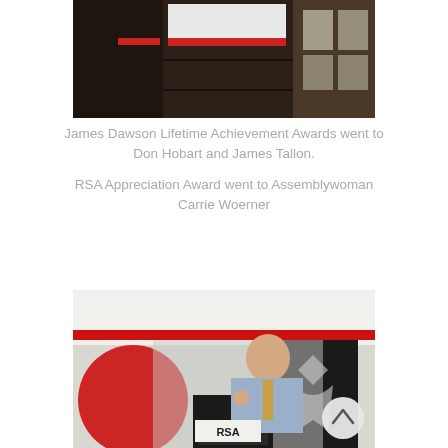[Figure (photo): Top portion of a room interior showing dark wood paneling and a red and white banner or sign, partially visible from above.]
James Dawson Lifetime Achievement Awards went to Don Hobart and James Tallon.
RSA Appreciation Award went to Assemblywoman Carrie Woerner
[Figure (photo): A man in a light blue shirt and patterned tie speaking at a podium with an RSA logo. Behind him is a red and white banner and a black RSA award trophy/logo on the wall.]